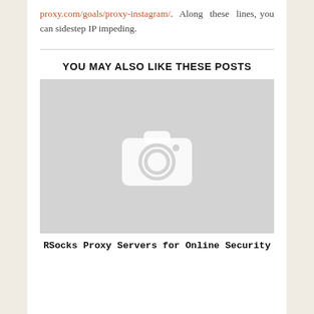proxy.com/goals/proxy-instagram/. Along these lines, you can sidestep IP impeding.
YOU MAY ALSO LIKE THESE POSTS
[Figure (photo): Placeholder image with camera icon on grey background]
RSocks Proxy Servers for Online Security